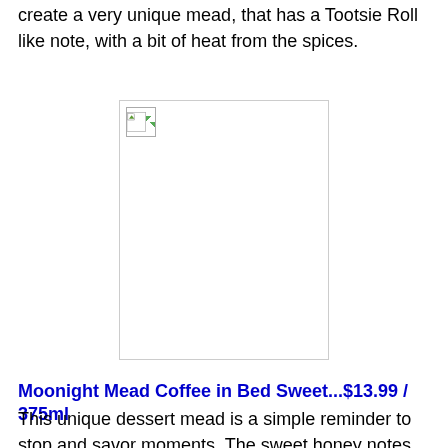create a very unique mead, that has a Tootsie Roll like note, with a bit of heat from the spices.
[Figure (photo): Broken/missing image placeholder showing a small image icon with a green triangle in top-left corner, inside a light gray bordered rectangle]
Moonight Mead Coffee in Bed Sweet...$13.99 / 375ml
This unique dessert mead is a simple reminder to stop and savor moments. The sweet honey notes are balanced by silky smooth Sumatra coffee. This is luscious dessert style mead that pairs wonderfully with German chocolate cake, or tiramisu. This mead came in 5th out of 353 entries at the 4th New England Regional Homebrew Competition, and to d...